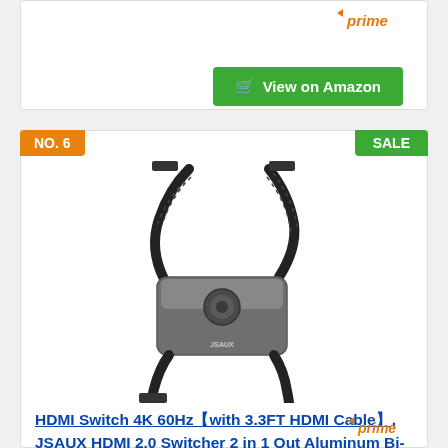[Figure (other): Amazon Prime logo with orange arrow]
[Figure (other): Green 'View on Amazon' button with cart icon]
NO. 6
SALE
[Figure (photo): HDMI Switch product photo showing a grey aluminum bi-directional splitter with braided cables attached]
HDMI Switch 4K 60Hz【with 3.3FT HDMI Cable】, JSAUX HDMI 2.0 Switcher 2 in 1 Out Aluminum Bi-Directional Splitter 2 x 1/1 x 2 UHD 3D Compatible for Switch, PS4, Roku, HDTV, Monitor -Grey